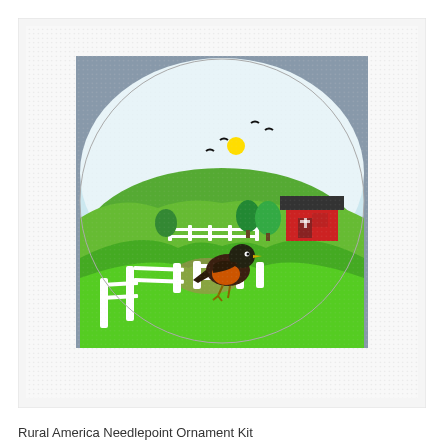[Figure (illustration): A needlepoint ornament design showing a rural American scene inside a circular/octagonal frame on a grey square background. The scene features rolling green hills, a red barn with a dark roof and white fence, green trees, blue sky with yellow sun and black birds flying, and a robin (black and orange bird) perched on a white fence post in the foreground. The needlepoint canvas texture is visible throughout.]
Rural America Needlepoint Ornament Kit